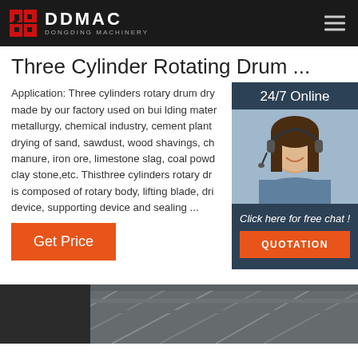[Figure (logo): DDMAC Dongding Machinery logo with red/black geometric icon and white text on dark header bar]
Three Cylinder Rotating Drum ...
Application: Three cylinders rotary drum dryers made by our factory used on building materials, metallurgy, chemical industry, cement plant drying of sand, sawdust, wood shavings, chicken manure, iron ore, limestone slag, coal powder, clay stone,etc. Thisthree cylinders rotary drum is composed of rotary body, lifting blade, drive device, supporting device and sealing ...
[Figure (photo): Woman with headset smiling, customer service representative for 24/7 Online chat widget]
Click here for free chat !
QUOTATION
Get Price
[Figure (photo): Industrial interior photo showing machinery/factory structure, partially visible at bottom of page]